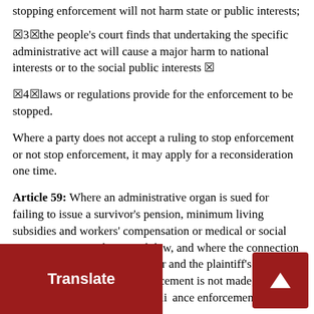stopping enforcement will not harm state or public interests;
▣3▣the people's court finds that undertaking the specific administrative act will cause a major harm to national interests or to the social public interests ▣
▣4▣laws or regulations provide for the enforcement to be stopped.
Where a party does not accept a ruling to stop enforcement or not stop enforcement, it may apply for a reconsideration one time.
Article 59: Where an administrative organ is sued for failing to issue a survivor's pension, minimum living subsidies and workers' compensation or medical or social insurance in accordance with law, and where the connection of rights and obligations is clear and the plaintiff's lives will be seriously affected if enforcement is not made, a people's court may issue compliance enforcement in accordance with